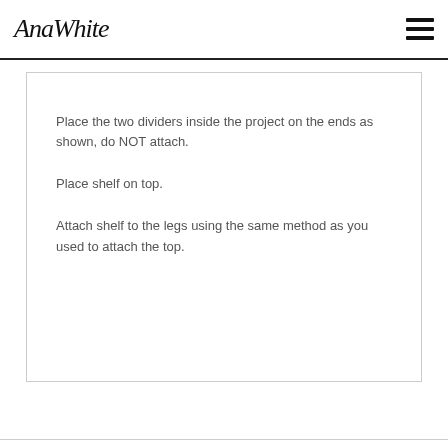AnaWhite
Place the two dividers inside the project on the ends as shown, do NOT attach.

Place shelf on top.

Attach shelf to the legs using the same method as you used to attach the top.